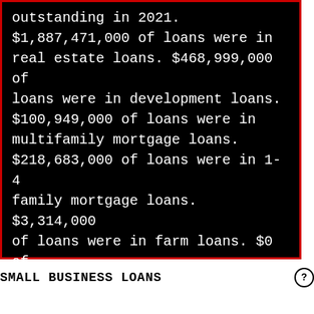outstanding in 2021. $1,887,471,000 of loans were in real estate loans. $468,999,000 of loans were in development loans. $100,949,000 of loans were in multifamily mortgage loans. $218,683,000 of loans were in 1-4 family mortgage loans. $3,314,000 of loans were in farm loans. $0 of loans were in credit card loans. $481,000 of loans were in the auto loan category.
SMALL BUSINESS LOANS